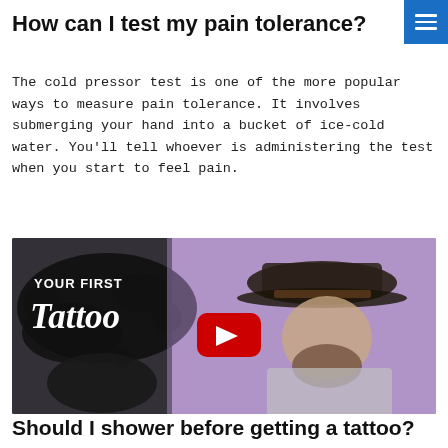How can I test my pain tolerance?
The cold pressor test is one of the more popular ways to measure pain tolerance. It involves submerging your hand into a bucket of ice-cold water. You'll tell whoever is administering the test when you start to feel pain.
[Figure (screenshot): YouTube video thumbnail showing a tattoo artist working on a client. Text on thumbnail reads 'YOUR FIRST Tattoo' with a YouTube play button in the center. Background is purple/lavender with dark ink splat graphic on the left side.]
Should I shower before getting a tattoo?